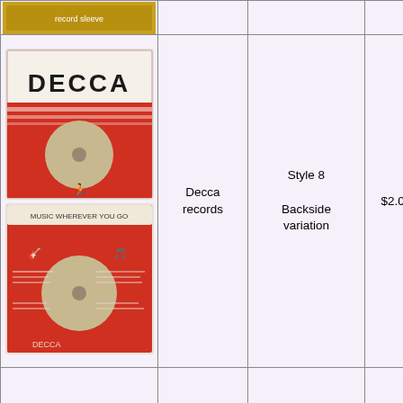[Figure (photo): Partial image of a record sleeve at top, cut off]
[Figure (photo): Decca records orange and white 7-inch single sleeve with DECCA logo, front side]
[Figure (photo): Decca records orange backside variation with 'MUSIC WHEREVER YOU GO' text]
Decca records
Style 8 Backside variation
$2.00
[Figure (illustration): Shopping cart icon]
[Figure (photo): Deram records orange and cream 7-inch single sleeve with DERAM / LONDON labels]
Deram records
Style 1 Date written in ink
$4.00
[Figure (illustration): Shopping cart icon]